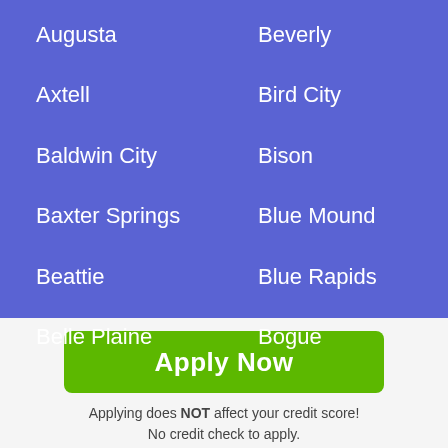Augusta
Beverly
Axtell
Bird City
Baldwin City
Bison
Baxter Springs
Blue Mound
Beattie
Blue Rapids
Belle Plaine
Bogue
Apply Now
Applying does NOT affect your credit score!
No credit check to apply.